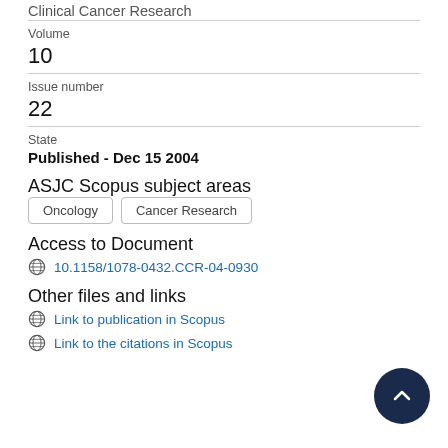Clinical Cancer Research
Volume
10
Issue number
22
State
Published - Dec 15 2004
ASJC Scopus subject areas
Oncology
Cancer Research
Access to Document
10.1158/1078-0432.CCR-04-0930
Other files and links
Link to publication in Scopus
Link to the citations in Scopus